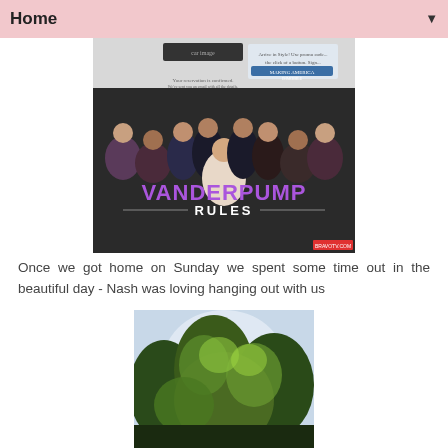Home ▼
[Figure (photo): Top portion: email confirmation screenshot. Bottom: Vanderpump Rules TV show promotional photo with cast members and logo text 'VANDERPUMP RULES']
Once we got home on Sunday we spent some time out in the beautiful day - Nash was loving hanging out with us
[Figure (photo): Photo of trees with green leaves against a bright sky, taken from below looking up]